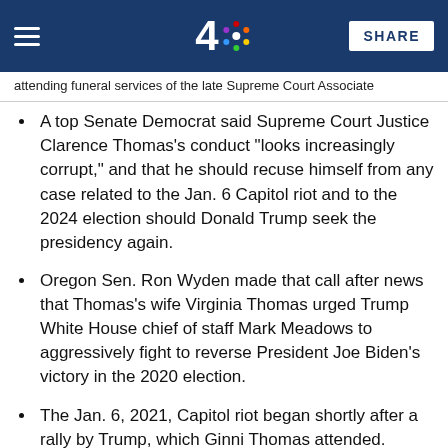NBC 4 [logo] SHARE
attending funeral services of the late Supreme Court Associate
A top Senate Democrat said Supreme Court Justice Clarence Thomas's conduct "looks increasingly corrupt," and that he should recuse himself from any case related to the Jan. 6 Capitol riot and to the 2024 election should Donald Trump seek the presidency again.
Oregon Sen. Ron Wyden made that call after news that Thomas's wife Virginia Thomas urged Trump White House chief of staff Mark Meadows to aggressively fight to reverse President Joe Biden's victory in the 2020 election.
The Jan. 6, 2021, Capitol riot began shortly after a rally by Trump, which Ginni Thomas attended. During the event, the then-president urged supporters to march to Congress and pressure lawmakers not to confirm Biden's win.